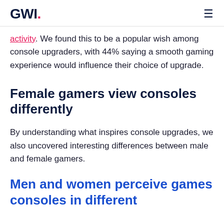GWI.
activity. We found this to be a popular wish among console upgraders, with 44% saying a smooth gaming experience would influence their choice of upgrade.
Female gamers view consoles differently
By understanding what inspires console upgrades, we also uncovered interesting differences between male and female gamers.
Men and women perceive games consoles in different